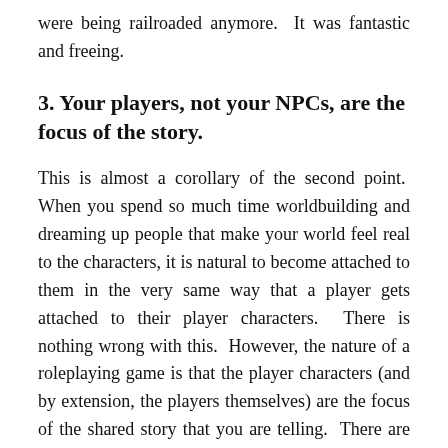were being railroaded anymore.  It was fantastic and freeing.
3. Your players, not your NPCs, are the focus of the story.
This is almost a corollary of the second point.  When you spend so much time worldbuilding and dreaming up people that make your world feel real to the characters, it is natural to become attached to them in the very same way that a player gets attached to their player characters.  There is nothing wrong with this.  However, the nature of a roleplaying game is that the player characters (and by extension, the players themselves) are the focus of the shared story that you are telling.  There are many rewards to being a GM and it is